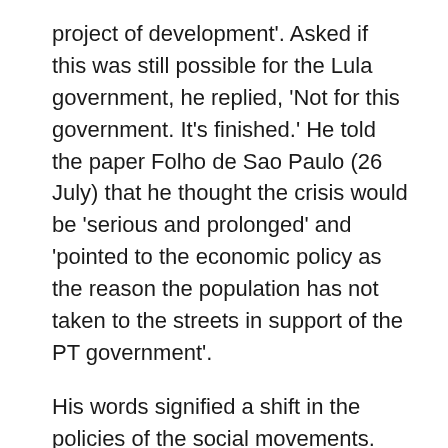project of development'. Asked if this was still possible for the Lula government, he replied, 'Not for this government. It's finished.' He told the paper Folho de Sao Paulo (26 July) that he thought the crisis would be 'serious and prolonged' and 'pointed to the economic policy as the reason the population has not taken to the streets in support of the PT government'.
His words signified a shift in the policies of the social movements. They called a demonstration for 16 August demanding a 'clearing up of corruption and a reform of the political system'. Their demand is not 'Lula out'. However, the emphasis of these movements is no longer support for the government but pressure for changes, principally as regards economic policy and punishment for those involved in corruption. This reveals the living